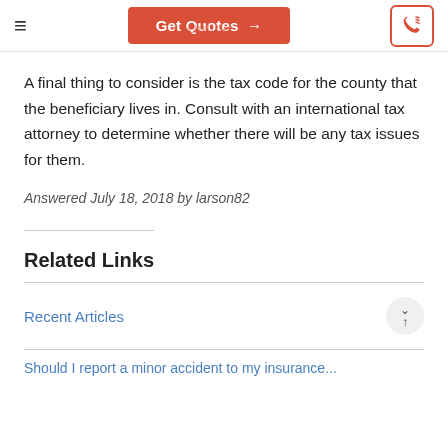Get Quotes →
A final thing to consider is the tax code for the county that the beneficiary lives in. Consult with an international tax attorney to determine whether there will be any tax issues for them.
Answered July 18, 2018 by larson82
Related Links
Recent Articles
Should I report a minor accident to my insurance...